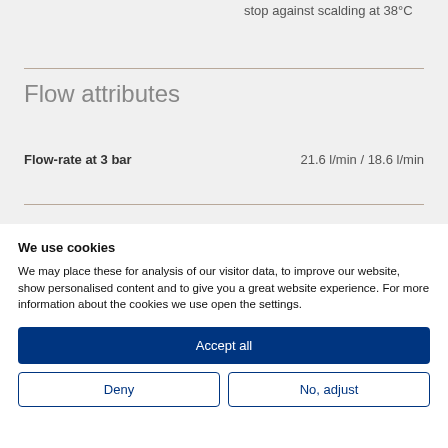stop against scalding at 38°C
Flow attributes
| Attribute | Value |
| --- | --- |
| Flow-rate at 3 bar | 21.6 l/min / 18.6 l/min |
We use cookies
We may place these for analysis of our visitor data, to improve our website, show personalised content and to give you a great website experience. For more information about the cookies we use open the settings.
Accept all
Deny
No, adjust